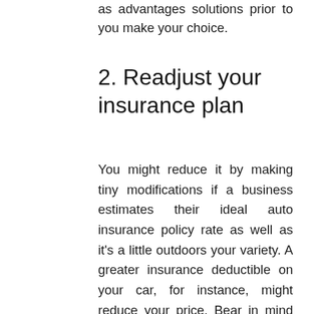as advantages solutions prior to you make your choice.
2. Readjust your insurance plan
You might reduce it by making tiny modifications if a business estimates their ideal auto insurance policy rate as well as it's a little outdoors your variety. A greater insurance deductible on your car, for instance, might reduce your price. Bear in mind however, that if you were to sue, your out-of-pocket costs can enhance.